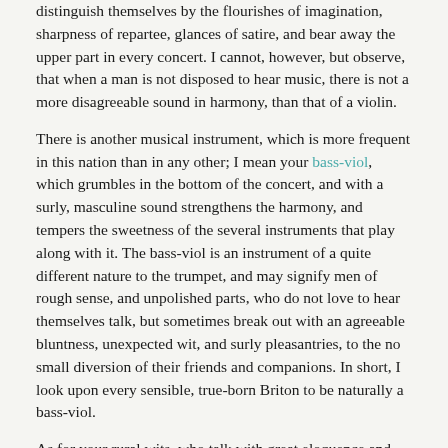distinguish themselves by the flourishes of imagination, sharpness of repartee, glances of satire, and bear away the upper part in every concert. I cannot, however, but observe, that when a man is not disposed to hear music, there is not a more disagreeable sound in harmony, than that of a violin.
There is another musical instrument, which is more frequent in this nation than in any other; I mean your bass-viol, which grumbles in the bottom of the concert, and with a surly, masculine sound strengthens the harmony, and tempers the sweetness of the several instruments that play along with it. The bass-viol is an instrument of a quite different nature to the trumpet, and may signify men of rough sense, and unpolished parts, who do not love to hear themselves talk, but sometimes break out with an agreeable bluntness, unexpected wit, and surly pleasantries, to the no small diversion of their friends and companions. In short, I look upon every sensible, true-born Briton to be naturally a bass-viol.
As for your rural wits, who talk with great eloquence and alacrity of foxes, hounds, horses, quickset hedges, and six-bar gates, double ditches, and broken necks, I am in doubt whether I should give them a place in the conversable world. However, if they will content themselves with being raised to the dignity of hunting-horns, I shall desire for the future that they may be known by that name.